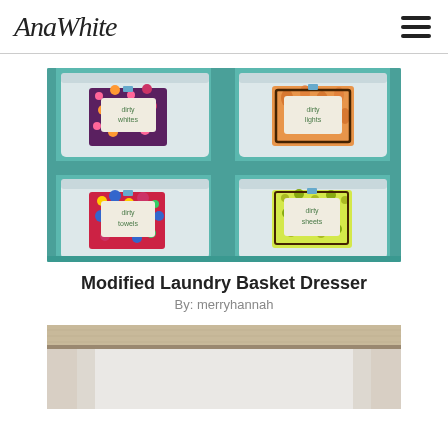AnaWhite
[Figure (photo): Four white plastic laundry bins arranged in a 2x2 grid inside a teal/mint green painted wooden dresser frame. Each bin has a decorative fabric label tag clipped on. Labels read: 'dirty whites' (top left, dark floral pattern), 'dirty lights' (top right, orange floral pattern), 'dirty towels' (bottom left, colorful circles pattern), 'dirty sheets' (bottom right, yellow floral pattern).]
Modified Laundry Basket Dresser
By: merryhannah
[Figure (photo): Partial view of a wooden shelf or table top with light wood grain, appearing to be the top of a laundry basket dresser unit, photographed from below or at an angle showing the underside structure.]